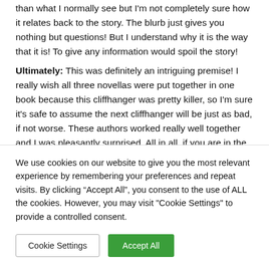than what I normally see but I'm not completely sure how it relates back to the story. The blurb just gives you nothing but questions! But I understand why it is the way that it is! To give any information would spoil the story!
Ultimately: This was definitely an intriguing premise! I really wish all three novellas were put together in one book because this cliffhanger was pretty killer, so I'm sure it's safe to assume the next cliffhanger will be just as bad, if not worse. These authors worked really well together and I was pleasantly surprised. All in all, if you are in the mood for a mystery that is going to leave you begging for more then
We use cookies on our website to give you the most relevant experience by remembering your preferences and repeat visits. By clicking "Accept All", you consent to the use of ALL the cookies. However, you may visit "Cookie Settings" to provide a controlled consent.